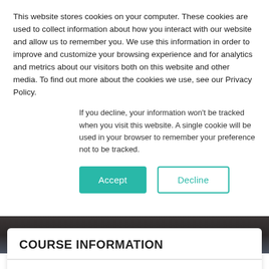This website stores cookies on your computer. These cookies are used to collect information about how you interact with our website and allow us to remember you. We use this information in order to improve and customize your browsing experience and for analytics and metrics about our visitors both on this website and other media. To find out more about the cookies we use, see our Privacy Policy.
If you decline, your information won't be tracked when you visit this website. A single cookie will be used in your browser to remember your preference not to be tracked.
Accept | Decline
[Figure (photo): Dark blurred background photo, likely showing the top of a person's head and dark clothing]
COURSE INFORMATION
Date